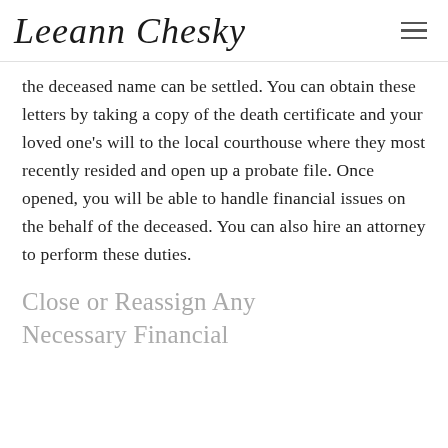Leeann Chesky
the deceased name can be settled. You can obtain these letters by taking a copy of the death certificate and your loved one's will to the local courthouse where they most recently resided and open up a probate file. Once opened, you will be able to handle financial issues on the behalf of the deceased. You can also hire an attorney to perform these duties.
Close or Reassign Any Necessary Financial